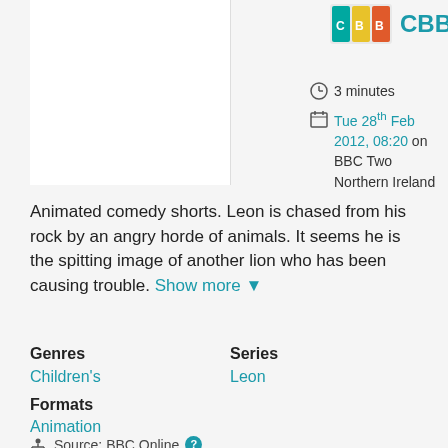[Figure (logo): CBBC logo with colorful blocks and the text CBBC in teal]
3 minutes
Tue 28th Feb 2012, 08:20 on BBC Two Northern Ireland
Animated comedy shorts. Leon is chased from his rock by an angry horde of animals. It seems he is the spitting image of another lion who has been causing trouble. Show more ▼
Genres
Children's
Series
Leon
Formats
Animation
Source: BBC Online ?